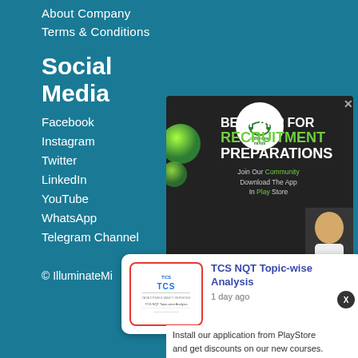About Company
Terms & Conditions
Social Media
Facebook
Instagram
Twitter
LinkedIn
YouTube
WhatsApp
Telegram Channel
© IlluminateMinds
[Figure (illustration): Illuminate Minds app advertisement popup showing 'BEST APP FOR RECRUITMENT PREPARATIONS' with green accent color, download button for Play Store, and a photo of a young woman holding books. Green decorative balls are visible on the left side.]
[Figure (illustration): Notification card showing TCS NQT Topic-wise Analysis article thumbnail with TCS logo in red border, title in blue text 'TCS NQT Topic-wise Analysis', and timestamp '1 day ago']
Install our application from PlayStore and get discounts on our new courses.